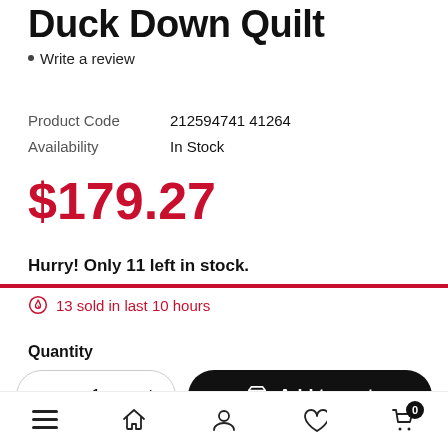Duck Down Quilt
Write a review
Product Code  212594741 41264
Availability  In Stock
$179.27
Hurry! Only 11 left in stock.
13 sold in last 10 hours
Quantity
- 1 + Add to cart
Navigation bar with menu, home, account, wishlist, cart (0)